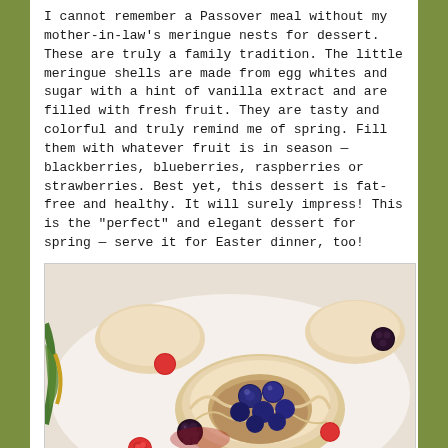I cannot remember a Passover meal without my mother-in-law's meringue nests for dessert. These are truly a family tradition. The little meringue shells are made from egg whites and sugar with a hint of vanilla extract and are filled with fresh fruit. They are tasty and colorful and truly remind me of spring. Fill them with whatever fruit is in season — blackberries, blueberries, raspberries or strawberries. Best yet, this dessert is fat-free and healthy. It will surely impress! This is the "perfect" and elegant dessert for spring — serve it for Easter dinner, too!
[Figure (photo): Photo of meringue nests filled with blueberries, raspberries, and blackberries on a white plate with a decorative gold and green border visible on the left side.]